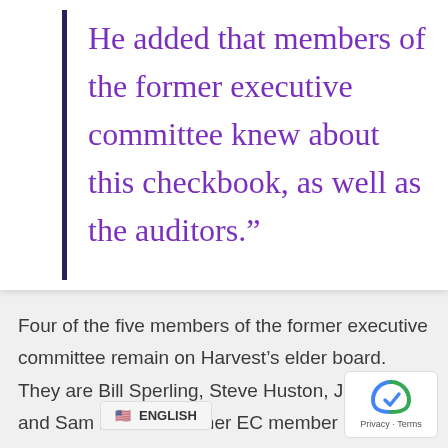He added that members of the former executive committee knew about this checkbook, as well as the auditors.”
Four of the five members of the former executive committee remain on Harvest’s elder board. They are Bill Sperling, Steve Huston, Jeff Smith, and Sam Boeras. Former EC member Ron Duitsm re…uary.